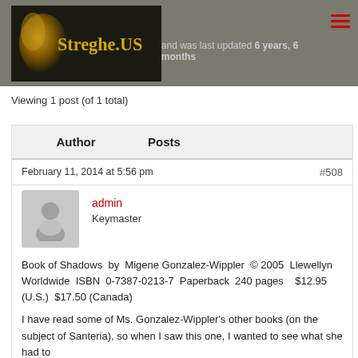[Figure (logo): Streghe.US website logo with golden text on dark background with glowing figure, set inside a grey header bar]
and was last updated 6 years, 6 months
Viewing 1 post (of 1 total)
| Author | Posts |
| --- | --- |
| February 11, 2014 at 5:56 pm | #508 |
| admin Keymaster | Book of Shadows by Migene Gonzalez-Wippler © 2005 Llewellyn Worldwide ISBN 0-7387-0213-7 Paperback 240 pages $12.95 (U.S.) $17.50 (Canada)

I have read some of Ms. Gonzalez-Wippler's other books (on the subject of Santeria), so when I saw this one, I wanted to see what she had to |
Book of Shadows by Migene Gonzalez-Wippler © 2005 Llewellyn Worldwide ISBN 0-7387-0213-7 Paperback 240 pages $12.95 (U.S.) $17.50 (Canada)
I have read some of Ms. Gonzalez-Wippler's other books (on the subject of Santeria), so when I saw this one, I wanted to see what she had to